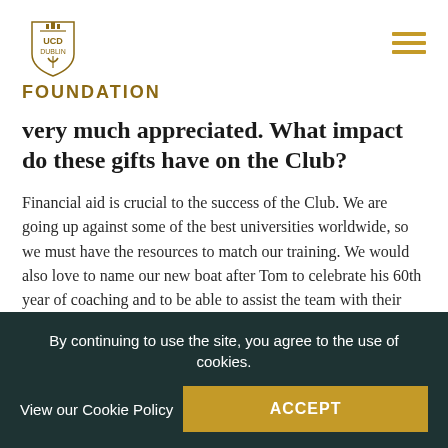UCD Foundation
very much appreciated. What impact do these gifts have on the Club?
Financial aid is crucial to the success of the Club. We are going up against some of the best universities worldwide, so we must have the resources to match our training. We would also love to name our new boat after Tom to celebrate his 60th year of coaching and to be able to assist the team with their expenses for Henley, as it is entirely self-funded and can be very expensive. We are so appreciative of any support and all donations, no matter
By continuing to use the site, you agree to the use of cookies.
View our Cookie Policy
ACCEPT